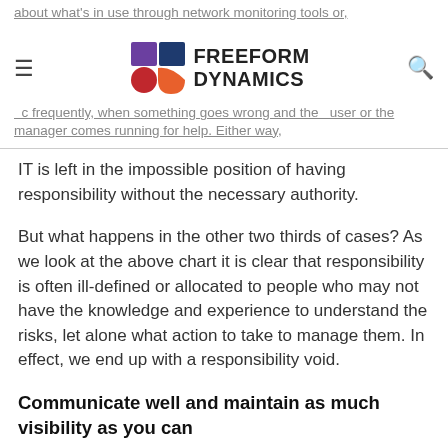about what's in use through network monitoring tools or, c frequently, when something goes wrong and the user or the manager comes running for help. Either way,
IT is left in the impossible position of having responsibility without the necessary authority.
But what happens in the other two thirds of cases? As we look at the above chart it is clear that responsibility is often ill-defined or allocated to people who may not have the knowledge and experience to understand the risks, let alone what action to take to manage them. In effect, we end up with a responsibility void.
Communicate well and maintain as much visibility as you can
If you know or suspect that a responsibility void has opened up in your organisation, or you see things heading